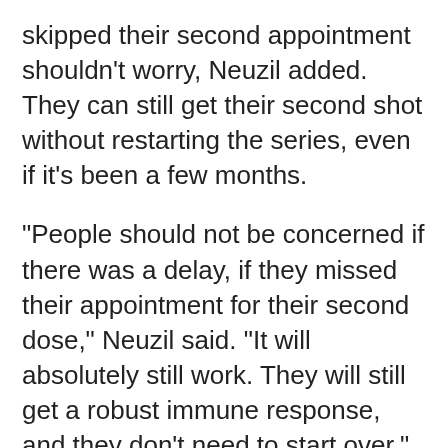skipped their second appointment shouldn't worry, Neuzil added. They can still get their second shot without restarting the series, even if it's been a few months.
"People should not be concerned if there was a delay, if they missed their appointment for their second dose," Neuzil said. "It will absolutely still work. They will still get a robust immune response, and they don't need to start over."
More information
The U.S. Centers for Disease Control and Prevention has more about COVID-19 vaccines.
SOURCES: Amesh Adalja, MD, senior scholar, Johns Hopkins Center for Health